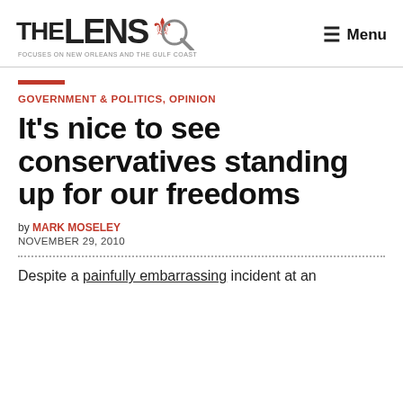THE LENS — Menu
GOVERNMENT & POLITICS, OPINION
It's nice to see conservatives standing up for our freedoms
by MARK MOSELEY
NOVEMBER 29, 2010
Despite a painfully embarrassing incident at an